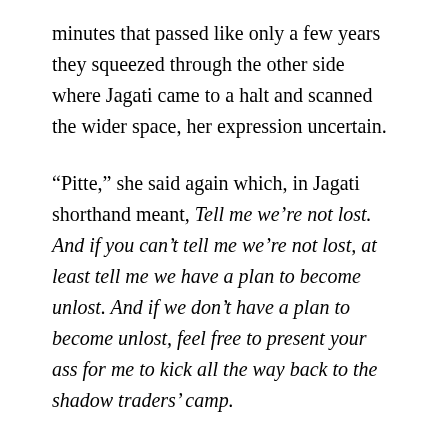minutes that passed like only a few years they squeezed through the other side where Jagati came to a halt and scanned the wider space, her expression uncertain.
“Pitte,” she said again which, in Jagati shorthand meant, Tell me we’re not lost. And if you can’t tell me we’re not lost, at least tell me we have a plan to become unlost. And if we don’t have a plan to become unlost, feel free to present your ass for me to kick all the way back to the shadow traders’ camp.
Jagati’s shorthand was an incredible time